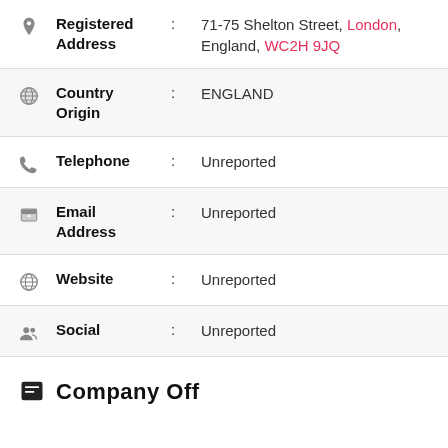Registered Address : 71-75 Shelton Street, London, England, WC2H 9JQ
Country Origin : ENGLAND
Telephone : Unreported
Email Address : Unreported
Website : Unreported
Social : Unreported